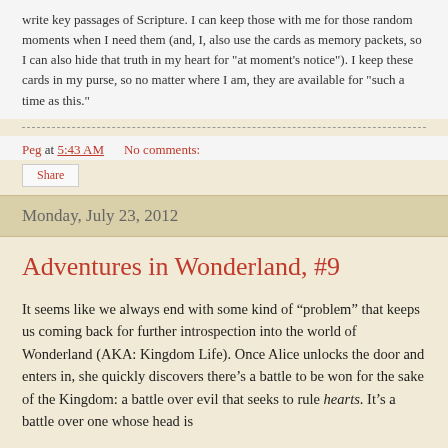write key passages of Scripture.  I can keep those with me for those random moments when I need them (and, I, also use the cards as memory packets, so I can also hide that truth in my heart for "at moment's notice").  I keep these cards in my purse, so no matter where I am, they are available for "such a time as this."
Peg at 5:43 AM    No comments:
Share
Monday, July 23, 2012
Adventures in Wonderland, #9
It seems like we always end with some kind of “problem” that keeps us coming back for further introspection into the world of Wonderland (AKA: Kingdom Life).  Once Alice unlocks the door and enters in, she quickly discovers there’s a battle to be won for the sake of the Kingdom: a battle over evil that seeks to rule hearts.  It’s a battle over one whose head is